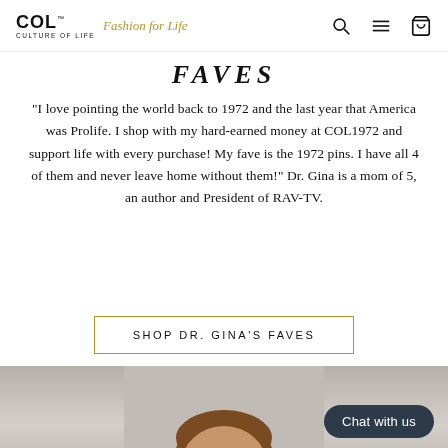COL. Culture of Life — Fashion for Life [nav icons: search, menu, cart]
FAVES
"I love pointing the world back to 1972 and the last year that America was Prolife. I shop with my hard-earned money at COL1972 and support life with every purchase! My fave is the 1972 pins. I have all 4 of them and never leave home without them!" Dr. Gina is a mom of 5, an author and President of RAV-TV.
SHOP DR. GINA'S FAVES
[Figure (photo): Portrait photo of Dr. Gina, a woman with long brown hair wearing a navy blazer and pearl necklace, smiling at camera against a gray background. A 'Chat with us' button overlay appears in the bottom right.]